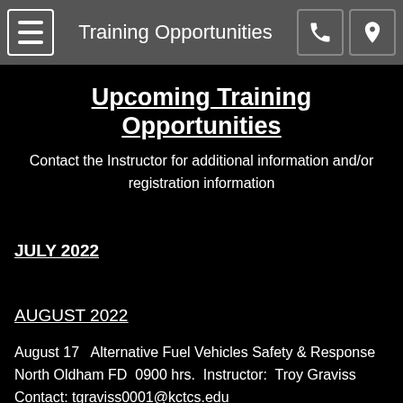Training Opportunities
Upcoming Training Opportunities
Contact the Instructor for additional information and/or registration information
JULY 2022
AUGUST 2022
August 17   Alternative Fuel Vehicles Safety & Response   North Oldham FD  0900 hrs.  Instructor:  Troy Graviss  Contact: tgraviss0001@kctcs.edu